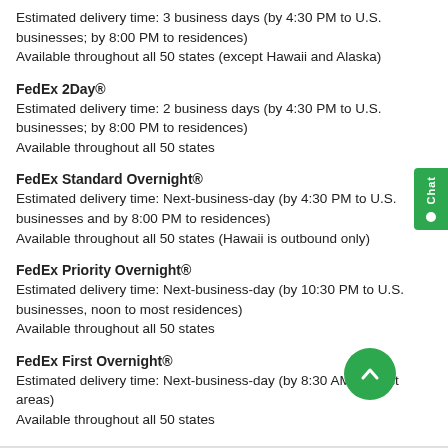Estimated delivery time: 3 business days (by 4:30 PM to U.S. businesses; by 8:00 PM to residences)
Available throughout all 50 states (except Hawaii and Alaska)
FedEx 2Day®
Estimated delivery time: 2 business days (by 4:30 PM to U.S. businesses; by 8:00 PM to residences)
Available throughout all 50 states
FedEx Standard Overnight®
Estimated delivery time: Next-business-day (by 4:30 PM to U.S. businesses and by 8:00 PM to residences)
Available throughout all 50 states (Hawaii is outbound only)
FedEx Priority Overnight®
Estimated delivery time: Next-business-day (by 10:30 PM to U.S. businesses, noon to most residences)
Available throughout all 50 states
FedEx First Overnight®
Estimated delivery time: Next-business-day (by 8:30 AM to most areas)
Available throughout all 50 states